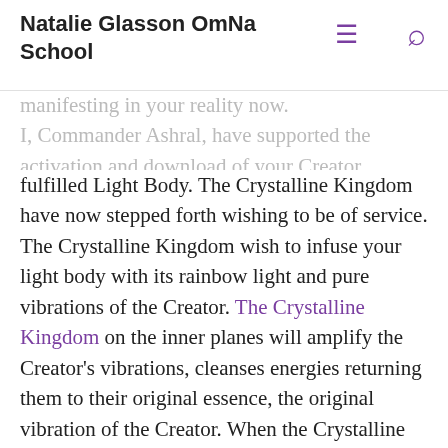Natalie Glasson OmNa School
manifesting in your reality now.
I, Commander Ashral, have supported the activation and download of your Creator fulfilled Light Body. The Crystalline Kingdom have now stepped forth wishing to be of service. The Crystalline Kingdom wish to infuse your light body with its rainbow light and pure vibrations of the Creator. The Crystalline Kingdom on the inner planes will amplify the Creator's vibrations, cleanses energies returning them to their original essence, the original vibration of the Creator. When the Crystalline Kingdom and your Creator Fulfilled Light Body integrates this will create a pure vibration of light. A cleansing and purification will occur within your light body on all levels and within your physical body/energy bodies, promoting a cleansing and purification within your physical reality as well.